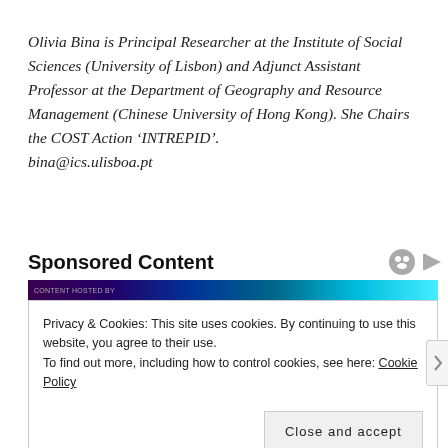Olivia Bina is Principal Researcher at the Institute of Social Sciences (University of Lisbon) and Adjunct Assistant Professor at the Department of Geography and Resource Management (Chinese University of Hong Kong). She Chairs the COST Action ‘INTREPID’. bina@ics.ulisboa.pt
Sponsored Content
[Figure (screenshot): Cookie consent banner overlay on a webpage showing a dark advertisement banner at top, with cookie policy notice and a Close and accept button.]